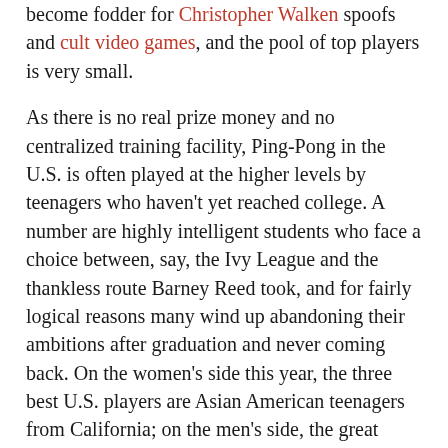become fodder for Christopher Walken spoofs and cult video games, and the pool of top players is very small.

As there is no real prize money and no centralized training facility, Ping-Pong in the U.S. is often played at the higher levels by teenagers who haven't yet reached college. A number are highly intelligent students who face a choice between, say, the Ivy League and the thankless route Barney Reed took, and for fairly logical reasons many wind up abandoning their ambitions after graduation and never coming back. On the women's side this year, the three best U.S. players are Asian American teenagers from California; on the men's side, the great hope for the future is Michael Landers, a 17-year-old from Long Island who has his own conditioning coach and practices at a glitzy downtown Manhattan table tennis club partly owned by Susan Sarandon. [4]